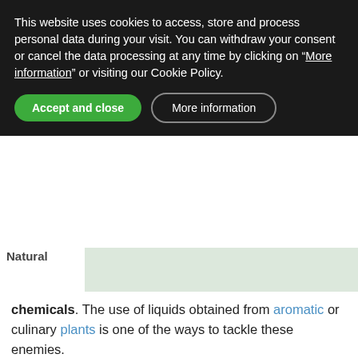This website uses cookies to access, store and process personal data during your visit. You can withdraw your consent or cancel the data processing at any time by clicking on "More information" or visiting our Cookie Policy.
Accept and close | More information
Natural
[Figure (photo): Partial image placeholder with light green/grey background color]
chemicals. The use of liquids obtained from aromatic or culinary plants is one of the ways to tackle these enemies.
Nettle ( Urtica dioica ) contains rutin and hydroxytryptamine, two principles with natural insecticidal properties, but also contains thiamin and a number of acids that are insect repellents (caffeic,